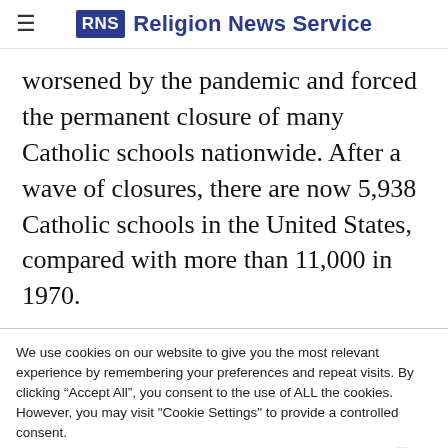RNS Religion News Service
worsened by the pandemic and forced the permanent closure of many Catholic schools nationwide. After a wave of closures, there are now 5,938 Catholic schools in the United States, compared with more than 11,000 in 1970.
We use cookies on our website to give you the most relevant experience by remembering your preferences and repeat visits. By clicking "Accept All", you consent to the use of ALL the cookies. However, you may visit "Cookie Settings" to provide a controlled consent.